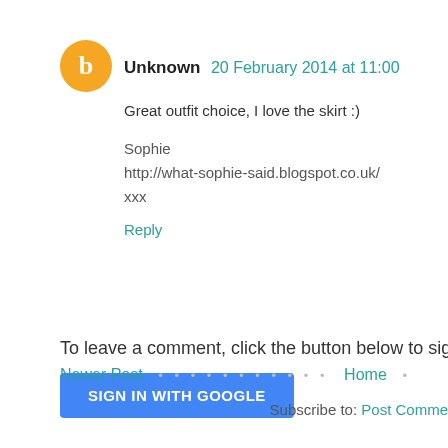[Figure (illustration): Orange circular Blogger avatar icon with white B letter]
Unknown 20 February 2014 at 11:00
Great outfit choice, I love the skirt :)
Sophie
http://what-sophie-said.blogspot.co.uk/
xxx
Reply
To leave a comment, click the button below to sign in w
SIGN IN WITH GOOGLE
Newer Post
Home
Subscribe to: Post Comme